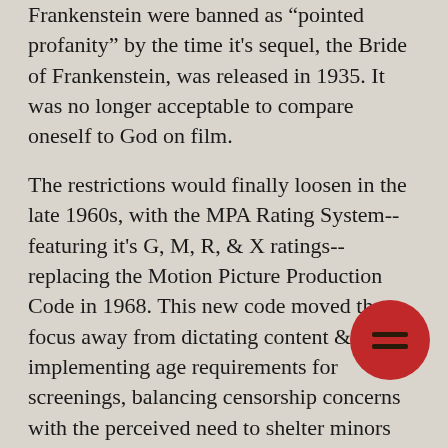Frankenstein were banned as "pointed profanity" by the time it's sequel, the Bride of Frankenstein, was released in 1935. It was no longer acceptable to compare oneself to God on film.
The restrictions would finally loosen in the late 1960s, with the MPA Rating System--featuring it's G, M, R, & X ratings--replacing the Motion Picture Production Code in 1968. This new code moved the focus away from dictating content & toward implementing age requirements for screenings, balancing censorship concerns with the perceived need to shelter minors from adult language, nu... & depictions of violence, substance abu... & sex. The new rating system would allow...